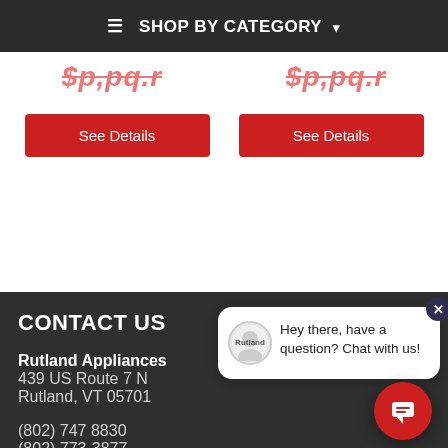≡ SHOP BY CATEGORY ▾
[Figure (screenshot): Two partially visible red strikethrough price labels side by side]
[Figure (screenshot): Two red 'See Details' buttons side by side]
CONTACT US
Rutland Appliances
439 US Route 7 N
Rutland, VT 05701
(802) 747 8830
(802) 773-3877
appliancedepotsales@gmail.com
[Figure (screenshot): Chat popup with avatar and text: Hey there, have a question? Chat with us!]
[Figure (screenshot): Red circular chat button in bottom right corner]